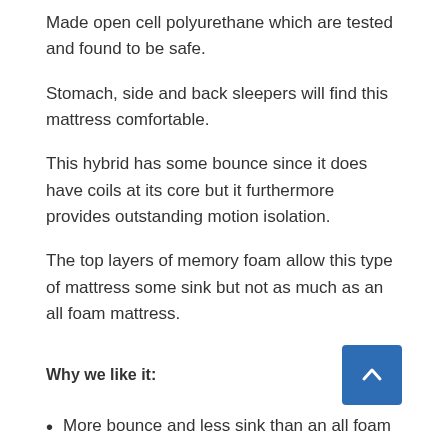Made open cell polyurethane which are tested and found to be safe.
Stomach, side and back sleepers will find this mattress comfortable.
This hybrid has some bounce since it does have coils at its core but it furthermore provides outstanding motion isolation.
The top layers of memory foam allow this type of mattress some sink but not as much as an all foam mattress.
Why we like it:
More bounce and less sink than an all foam